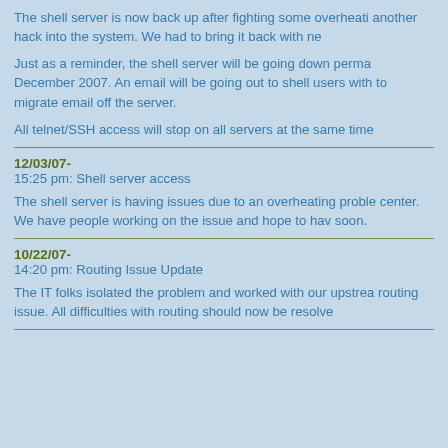The shell server is now back up after fighting some overheating and another hack into the system. We had to bring it back with new...
Just as a reminder, the shell server will be going down permanently in December 2007. An email will be going out to shell users with instructions to migrate email off the server.
All telnet/SSH access will stop on all servers at the same time.
12/03/07-
15:25 pm: Shell server access
The shell server is having issues due to an overheating problem at the data center. We have people working on the issue and hope to have it resolved soon.
10/22/07-
14:20 pm: Routing Issue Update
The IT folks isolated the problem and worked with our upstream provider on the routing issue. All difficulties with routing should now be resolved.